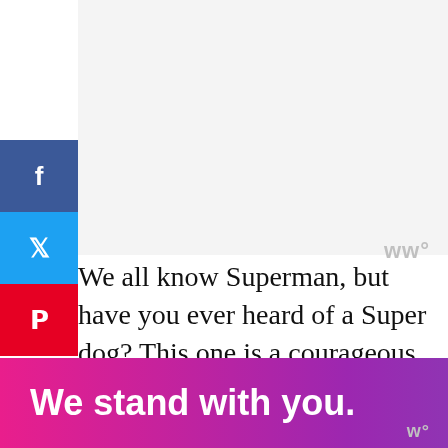[Figure (other): Placeholder image area (light gray background, top section of page)]
wº
33
SHARES
We all know Superman, but have you ever heard of a Super dog? This one is a courageous good boy who is always ready to help. You can color its cape and the building behind him to make the super dog stand
[Figure (other): Ad banner: 'We stand with you.' with gradient background (pink to purple to blue), close buttons]
wº